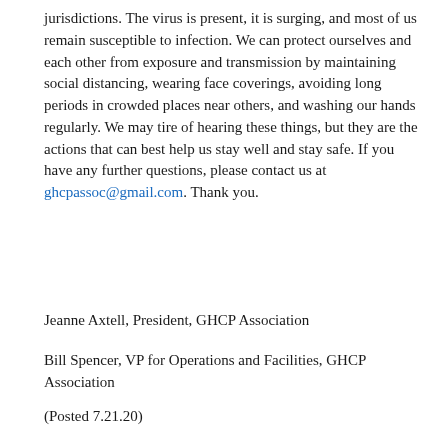jurisdictions.  The virus is present, it is surging, and most of us remain susceptible to infection.  We can protect ourselves and each other from exposure and transmission by maintaining social distancing, wearing face coverings, avoiding long periods in crowded places near others, and washing our hands regularly.  We may tire of hearing these things, but they are the actions that can best help us stay well and stay safe.  If you have any further questions, please contact us at ghcpassoc@gmail.com.  Thank you.
Jeanne Axtell, President, GHCP Association
Bill Spencer, VP for Operations and Facilities, GHCP Association
(Posted 7.21.20)